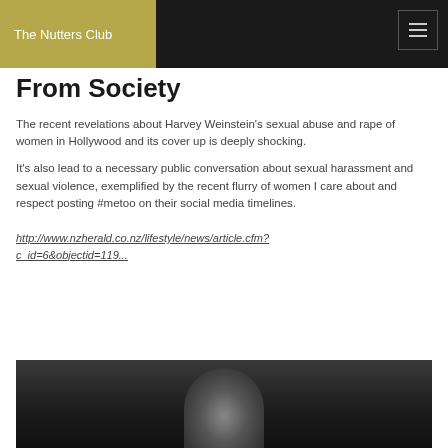The Nutters Club
From Society
The recent revelations about Harvey Weinstein's sexual abuse and rape of women in Hollywood and its cover up is deeply shocking.
It's also lead to a necessary public conversation about sexual harassment and sexual violence, exemplified by the recent flurry of women I care about and respect posting #metoo on their social media timelines.
http://www.nzherald.co.nz/lifestyle/news/article.cfm?c_id=6&objectid=119...
[Figure (photo): Black and white photograph of a man, likely Harvey Weinstein, shown from the shoulders up against a dark background]